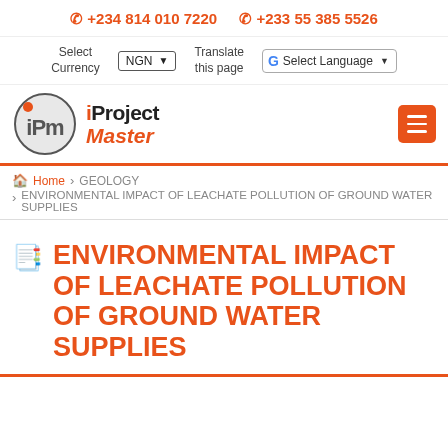+234 814 010 7220   +233 55 385 5526
Select Currency   NGN   Translate this page   Select Language
[Figure (logo): iProject Master logo: circular IPM emblem with orange dot, beside bold text 'iProject' in black/orange and 'Master' in orange italic]
ENVIRONMENTAL IMPACT OF LEACHATE POLLUTION OF GROUND WATER SUPPLIES
Home > GEOLOGY > ENVIRONMENTAL IMPACT OF LEACHATE POLLUTION OF GROUND WATER SUPPLIES